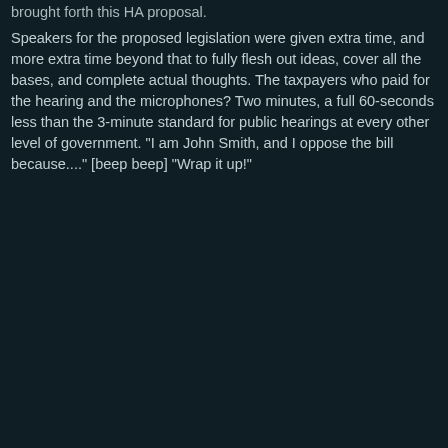brought forth this HA proposal.
Speakers for the proposed legislation were given extra time, and more extra time beyond that to fully flesh out ideas, cover all the bases, and complete actual thoughts. The taxpayers who paid for the hearing and the microphones? Two minutes, a full 60-seconds less than the 3-minute standard for public hearings at every other level of government. "I am John Smith, and I oppose the bill because...." [beep beep] "Wrap it up!"